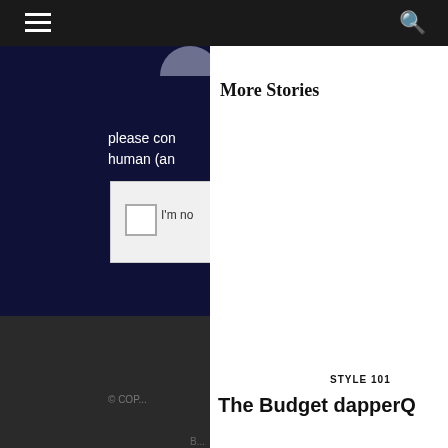Navigation bar with hamburger menu and search icon
[Figure (screenshot): Partially visible CAPTCHA widget on dark navy background showing a checkbox labeled 'I'm no...' and partial text 'please con...' and 'human (an...']
More Stories
© COP...
B...
STYLE 101
The Budget dapperQ